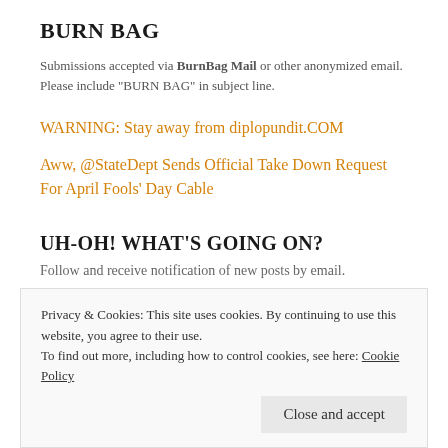BURN BAG
Submissions accepted via BurnBag Mail or other anonymized email. Please include “BURN BAG” in subject line.
WARNING: Stay away from diplopundit.COM
Aww, @StateDept Sends Official Take Down Request For April Fools’ Day Cable
UH-OH! WHAT’S GOING ON?
Follow and receive notification of new posts by email.
Email Address
Follow This Blog
Privacy & Cookies: This site uses cookies. By continuing to use this website, you agree to their use.
To find out more, including how to control cookies, see here: Cookie Policy
Close and accept